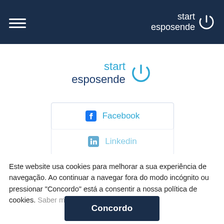start esposende
[Figure (logo): Start Esposende logo with power button icon, blue text on white background, centered on page]
[Figure (screenshot): Facebook login button with Facebook icon]
[Figure (screenshot): LinkedIn login button (partially visible, faded)]
[Figure (screenshot): Instagram login button (partially visible, faded)]
Este website usa cookies para melhorar a sua experiência de navegação. Ao continuar a navegar fora do modo incógnito ou pressionar "Concordo" está a consentir a nossa política de cookies. Saber mais
Concordo